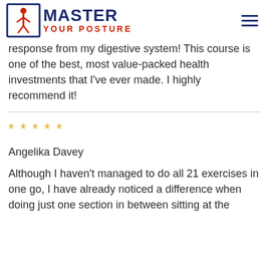MASTER YOUR POSTURE
response from my digestive system! This course is one of the best, most value-packed health investments that I've ever made. I highly recommend it!
★★★★★
Angelika Davey
Although I haven't managed to do all 21 exercises in one go, I have already noticed a difference when doing just one section in between sitting at the